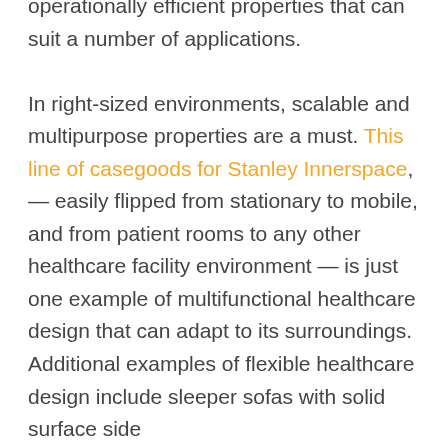operationally efficient properties that can suit a number of applications. In right-sized environments, scalable and multipurpose properties are a must. This line of casegoods for Stanley Innerspace, — easily flipped from stationary to mobile, and from patient rooms to any other healthcare facility environment — is just one example of multifunctional healthcare design that can adapt to its surroundings. Additional examples of flexible healthcare design include sleeper sofas with solid surface side